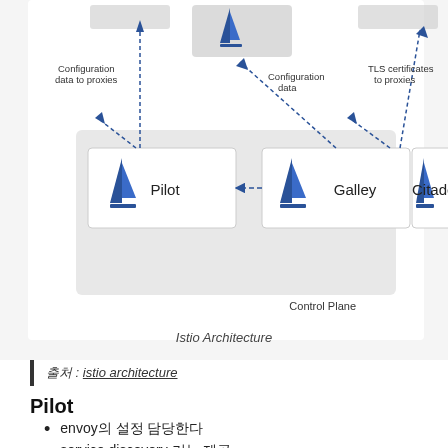[Figure (engineering-diagram): Istio Architecture diagram showing Control Plane with three components: Pilot, Galley, and Citadel (each with sailboat logos). Dashed arrows show: Configuration data to proxies (from Pilot), Configuration data (from Galley to Pilot), TLS certificates to proxies (from Citadel). Components are in a gray Control Plane box.]
Istio Architecture
출처 : istio architecture
Pilot
envoy의 설정 담당한다
service discovery 기능 제공
Service Discovery :